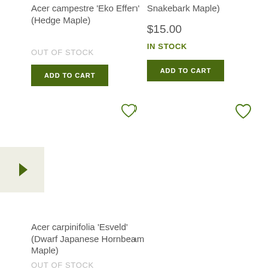Acer campestre 'Eko Effen' (Hedge Maple)
OUT OF STOCK
ADD TO CART
Snakebark Maple)
$15.00
IN STOCK
ADD TO CART
[Figure (illustration): Heart/wishlist icon outline]
[Figure (illustration): Heart/wishlist icon outline]
Acer carpinifolia 'Esveld' (Dwarf Japanese Hornbeam Maple)
OUT OF STOCK
ADD TO CART